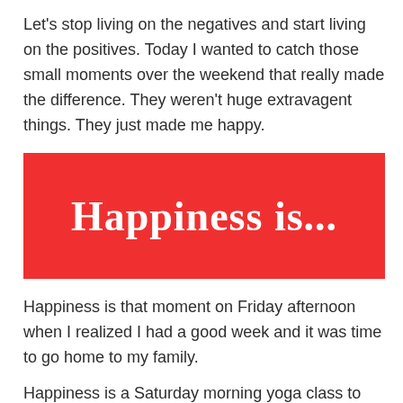Let's stop living on the negatives and start living on the positives. Today I wanted to catch those small moments over the weekend that really made the difference. They weren't huge extravagent things. They just made me happy.
[Figure (illustration): Red banner with white cursive text reading 'Happiness is...']
Happiness is that moment on Friday afternoon when I realized I had a good week and it was time to go home to my family.
Happiness is a Saturday morning yoga class to clear my mind.